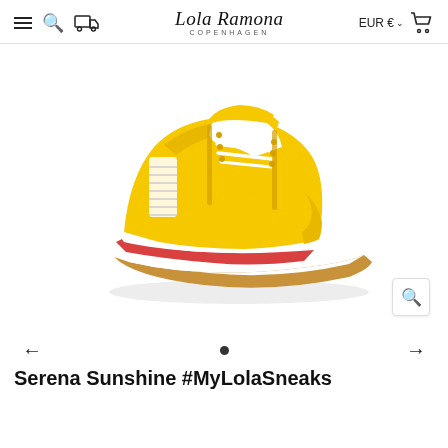Lola Ramona COPENHAGEN — EUR € — navigation header
[Figure (photo): Yellow sneaker (Serena Sunshine) on white background, with heart detail on side, red midsole accent, white laces, and gum rubber outsole. Brand: Lola Ramona Copenhagen.]
Serena Sunshine #MyLolaSneaks